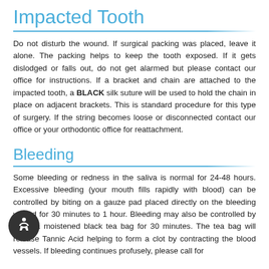Impacted Tooth
Do not disturb the wound. If surgical packing was placed, leave it alone. The packing helps to keep the tooth exposed. If it gets dislodged or falls out, do not get alarmed but please contact our office for instructions. If a bracket and chain are attached to the impacted tooth, a BLACK silk suture will be used to hold the chain in place on adjacent brackets. This is standard procedure for this type of surgery. If the string becomes loose or disconnected contact our office or your orthodontic office for reattachment.
Bleeding
Some bleeding or redness in the saliva is normal for 24-48 hours. Excessive bleeding (your mouth fills rapidly with blood) can be controlled by biting on a gauze pad placed directly on the bleeding wound for 30 minutes to 1 hour. Bleeding may also be controlled by using a moistened black tea bag for 30 minutes. The tea bag will release Tannic Acid helping to form a clot by contracting the blood vessels. If bleeding continues profusely, please call for